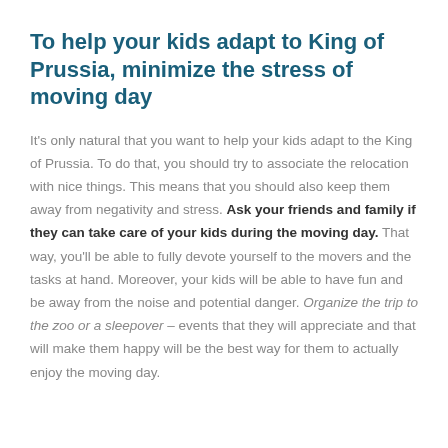To help your kids adapt to King of Prussia, minimize the stress of moving day
It's only natural that you want to help your kids adapt to the King of Prussia. To do that, you should try to associate the relocation with nice things. This means that you should also keep them away from negativity and stress. Ask your friends and family if they can take care of your kids during the moving day. That way, you'll be able to fully devote yourself to the movers and the tasks at hand. Moreover, your kids will be able to have fun and be away from the noise and potential danger. Organize the trip to the zoo or a sleepover – events that they will appreciate and that will make them happy will be the best way for them to actually enjoy the moving day.